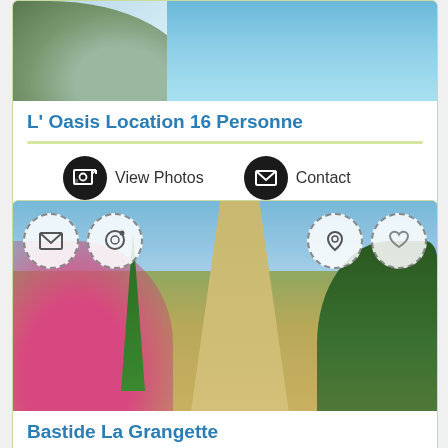[Figure (photo): Top portion of a property listing photo showing rocks/plants and a pool]
L' Oasis Location 16 Personne
[Figure (infographic): View Photos and Contact action buttons with icons]
[Figure (photo): Landscape photo showing a dirt path lined with pink oleander flowers, cypress tree, olive trees, and blue sky]
Bastide La Grangette